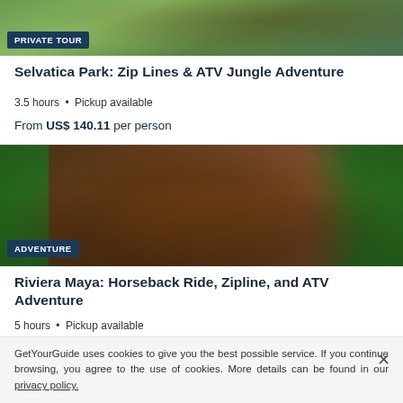[Figure (photo): Aerial/outdoor adventure photo showing jungle zipline scene]
PRIVATE TOUR
Selvatica Park: Zip Lines & ATV Jungle Adventure
3.5 hours • Pickup available
From US$ 140.11 per person
[Figure (photo): Person riding ATV through mud in jungle setting]
ADVENTURE
Riviera Maya: Horseback Ride, Zipline, and ATV Adventure
5 hours • Pickup available
4.6 (14)
GetYourGuide uses cookies to give you the best possible service. If you continue browsing, you agree to the use of cookies. More details can be found in our privacy policy.